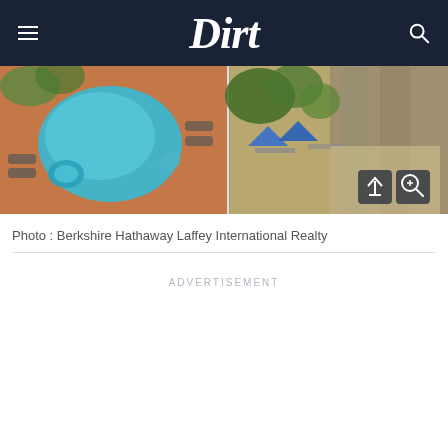Dirt
[Figure (photo): Aerial view of a luxury property showing a round swimming pool with spa on a brick patio on the left, and a stone building with blue umbrellas and outdoor seating area on the right.]
Photo : Berkshire Hathaway Laffey International Realty
ADVERTISEMENT